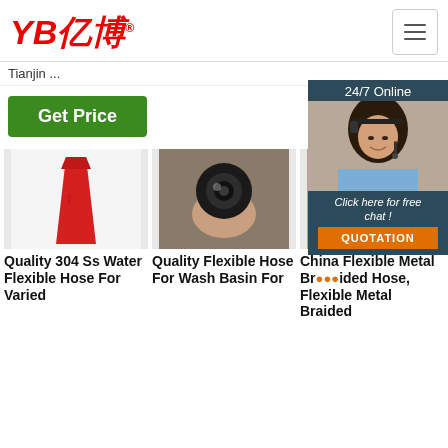YB亿博® [logo] [hamburger menu]
Tianjin ...
Get Price
[Figure (photo): 24/7 Online chat widget with photo of woman with headset, 'Click here for free chat!' text, and QUOTATION button]
[Figure (photo): Red tapered hose nozzle product photo]
Quality 304 Ss Water Flexible Hose For Varied
[Figure (photo): Hand holding a flexible hose showing interior cross section]
Quality Flexible Hose For Wash Basin For
[Figure (photo): Metal braided flexible hose product photo]
China Flexible Metal Braided Hose, Flexible Metal Braided